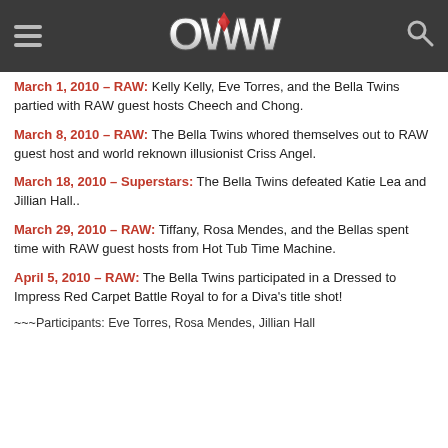OWW header with hamburger menu, OWW logo, and search icon
March 1, 2010 – RAW: Kelly Kelly, Eve Torres, and the Bella Twins partied with RAW guest hosts Cheech and Chong.
March 8, 2010 – RAW: The Bella Twins whored themselves out to RAW guest host and world reknown illusionist Criss Angel.
March 18, 2010 – Superstars: The Bella Twins defeated Katie Lea and Jillian Hall..
March 29, 2010 – RAW: Tiffany, Rosa Mendes, and the Bellas spent time with RAW guest hosts from Hot Tub Time Machine.
April 5, 2010 – RAW: The Bella Twins participated in a Dressed to Impress Red Carpet Battle Royal to for a Diva's title shot!
~~~Participants: Eve Torres, Rosa Mendes, Jillian Hall